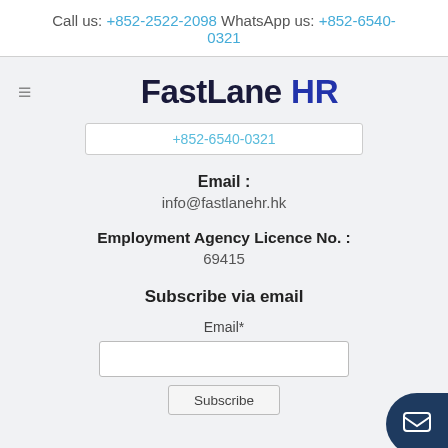Call us: +852-2522-2098 WhatsApp us: +852-6540-0321
[Figure (logo): FastLane HR logo — 'FastLane' in dark navy bold sans-serif, 'HR' in blue bold sans-serif]
+852-6540-0321
Email : info@fastlanehr.hk
Employment Agency Licence No. : 69415
Subscribe via email
Email*
Subscribe